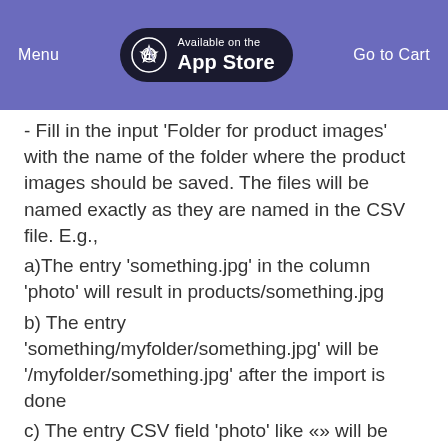Menu | Available on the App Store | Go to Cart
- Fill in the input 'Folder for product images' with the name of the folder where the product images should be saved. The files will be named exactly as they are named in the CSV file. E.g.,
a)The entry 'something.jpg' in the column 'photo' will result in products/something.jpg
b) The entry 'something/myfolder/something.jpg' will be '/myfolder/something.jpg' after the import is done
c) The entry CSV field 'photo' like «» will be interpreted as 'products/sku.jpg'
- You have the possibility to overwrite the